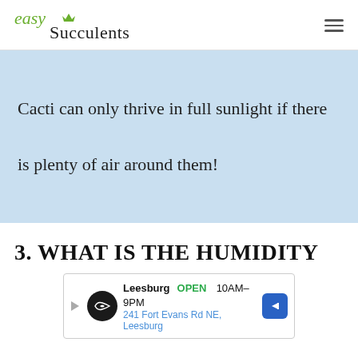easy Succulents
Cacti can only thrive in full sunlight if there is plenty of air around them!
3. WHAT IS THE HUMIDITY
[Figure (other): Advertisement banner: Leesburg OPEN 10AM-9PM, 241 Fort Evans Rd NE, Leesburg]